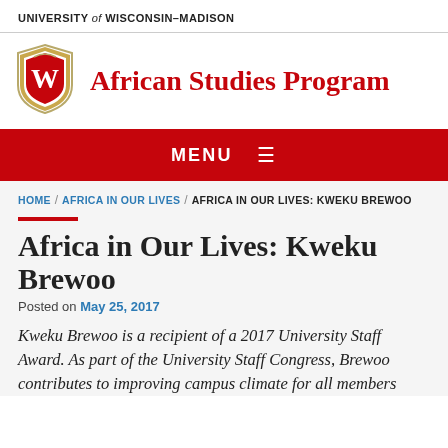UNIVERSITY of WISCONSIN–MADISON
[Figure (logo): University of Wisconsin-Madison shield logo with W emblem]
African Studies Program
MENU ≡
HOME / AFRICA IN OUR LIVES / AFRICA IN OUR LIVES: KWEKU BREWOO
Africa in Our Lives: Kweku Brewoo
Posted on May 25, 2017
Kweku Brewoo is a recipient of a 2017 University Staff Award. As part of the University Staff Congress, Brewoo contributes to improving campus climate for all members